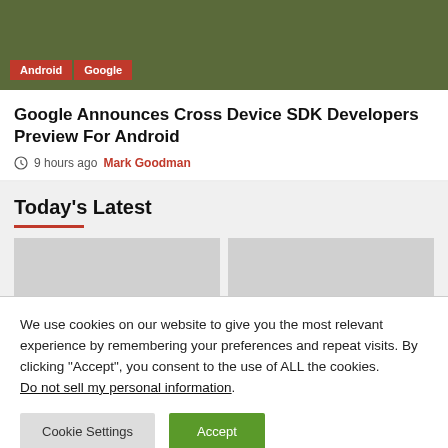[Figure (photo): Top image showing a person holding a phone, with dark olive/green background. Tags 'Android' and 'Google' shown as red labels overlaid at bottom left.]
Google Announces Cross Device SDK Developers Preview For Android
9 hours ago  Mark Goodman
Today's Latest
[Figure (photo): Two placeholder image boxes side by side in light gray]
We use cookies on our website to give you the most relevant experience by remembering your preferences and repeat visits. By clicking “Accept”, you consent to the use of ALL the cookies.
Do not sell my personal information.